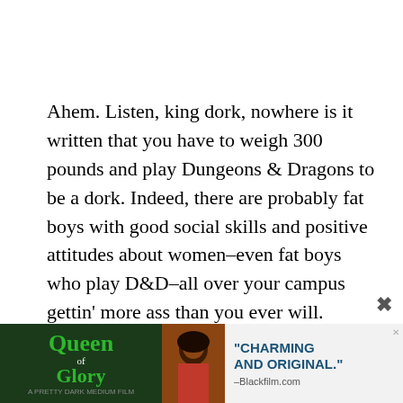Ahem. Listen, king dork, nowhere is it written that you have to weigh 300 pounds and play Dungeons & Dragons to be a dork. Indeed, there are probably fat boys with good social skills and positive attitudes about women–even fat boys who play D&D–all over your campus gettin' more ass than you ever will. Certainly more ass than you'll ever deserve.
And while most people get a lot of ass in college, they usually don't get much as pimply 18-year-old
[Figure (other): Advertisement banner for 'Queen of Glory' film with woman's photo and quote 'CHARMING AND ORIGINAL.' -Blackfilm.com]